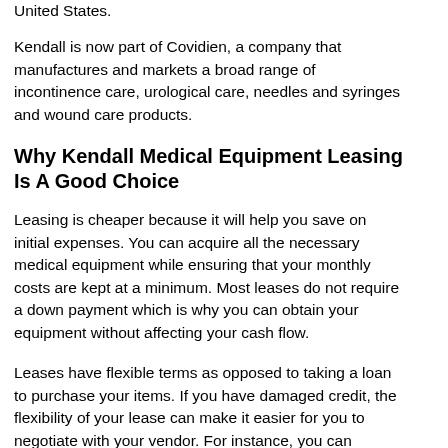United States.
Kendall is now part of Covidien, a company that manufactures and markets a broad range of incontinence care, urological care, needles and syringes and wound care products.
Why Kendall Medical Equipment Leasing Is A Good Choice
Leasing is cheaper because it will help you save on initial expenses. You can acquire all the necessary medical equipment while ensuring that your monthly costs are kept at a minimum. Most leases do not require a down payment which is why you can obtain your equipment without affecting your cash flow.
Leases have flexible terms as opposed to taking a loan to purchase your items. If you have damaged credit, the flexibility of your lease can make it easier for you to negotiate with your vendor. For instance, you can negotiate for a longer payment